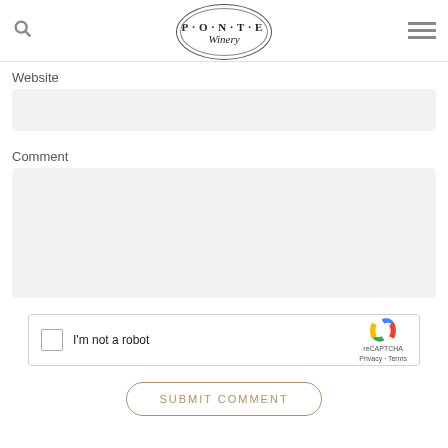PONTE Winery
Website
Comment
[Figure (screenshot): reCAPTCHA widget with checkbox labeled I'm not a robot]
SUBMIT COMMENT